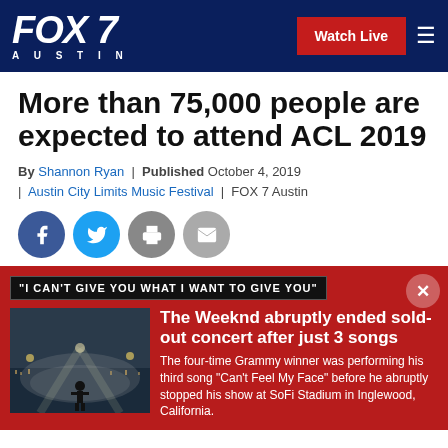FOX 7 AUSTIN | Watch Live
More than 75,000 people are expected to attend ACL 2019
By Shannon Ryan | Published October 4, 2019 | Austin City Limits Music Festival | FOX 7 Austin
[Figure (infographic): Social sharing buttons: Facebook, Twitter, Print, Email]
"I CAN'T GIVE YOU WHAT I WANT TO GIVE YOU"
[Figure (photo): Concert stage with performer in fog and city lights in background]
The Weeknd abruptly ended sold-out concert after just 3 songs
The four-time Grammy winner was performing his third song "Can't Feel My Face" before he abruptly stopped his show at SoFi Stadium in Inglewood, California.